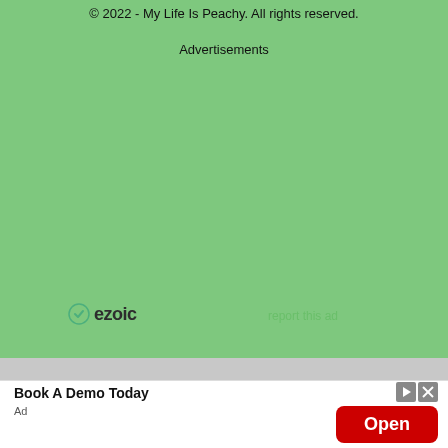© 2022 - My Life Is Peachy. All rights reserved.
Advertisements
[Figure (other): Green advertisement placeholder area with ezoic logo and 'report this ad' link]
Book A Demo Today
Ad
[Figure (other): Red Open button advertisement in bottom bar]